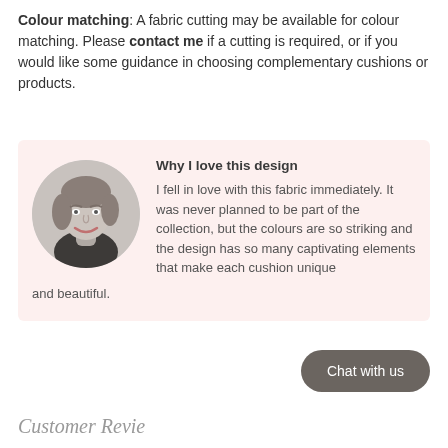Colour matching: A fabric cutting may be available for colour matching. Please contact me if a cutting is required, or if you would like some guidance in choosing complementary cushions or products.
[Figure (photo): Pink background box containing a circular black-and-white headshot photo of a smiling woman with shoulder-length hair, alongside a quote titled 'Why I love this design' describing the designer's affection for the fabric.]
Why I love this design
I fell in love with this fabric immediately. It was never planned to be part of the collection, but the colours are so striking and the design has so many captivating elements that make each cushion unique and beautiful.
Chat with us
Customer Reviews